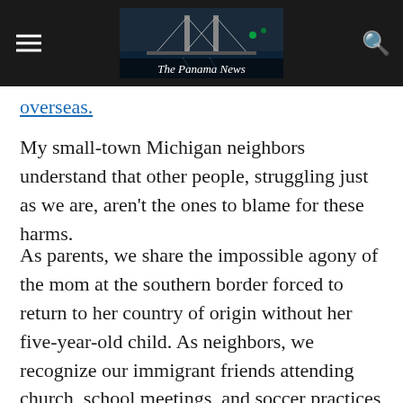The Panama News
overseas.
My small-town Michigan neighbors understand that other people, struggling just as we are, aren't the ones to blame for these harms.
As parents, we share the impossible agony of the mom at the southern border forced to return to her country of origin without her five-year-old child. As neighbors, we recognize our immigrant friends attending church, school meetings, and soccer practices beside us.
These one-on-one interactions prove over and over that we all desire the same security, stability, and community. We all have the same love for our families, and hopes for a better